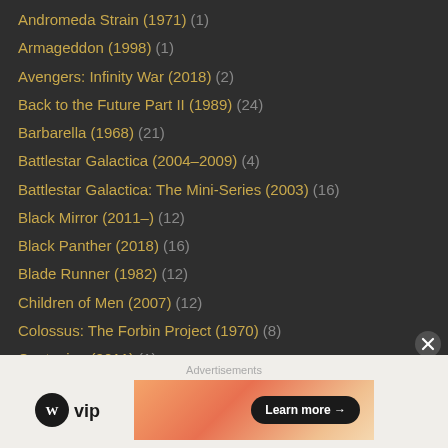Andromeda Strain (1971) (1)
Armageddon (1998) (1)
Avengers: Infinity War (2018) (2)
Back to the Future Part II (1989) (24)
Barbarella (1968) (21)
Battlestar Galactica (2004–2009) (4)
Battlestar Galactica: The Mini-Series (2003) (16)
Black Mirror (2011–) (12)
Black Panther (2018) (16)
Blade Runner (1982) (12)
Children of Men (2007) (12)
Colossus: The Forbin Project (1970) (8)
Contagion (2011) (1)
Dawn of the Planet of the Apes (2014) (1)
Deep Impact (1998) (2)
Destination Moon (1950) (4)
Doctor Strange (2016) (17)
Advertisements
[Figure (logo): WordPress VIP logo with circular WP icon and 'vip' text]